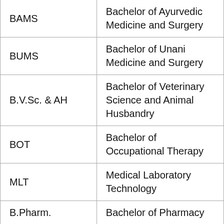| Abbreviation | Full Form |
| --- | --- |
| BAMS | Bachelor of Ayurvedic Medicine and Surgery |
| BUMS | Bachelor of Unani Medicine and Surgery |
| B.V.Sc. & AH | Bachelor of Veterinary Science and Animal Husbandry |
| BOT | Bachelor of Occupational Therapy |
| MLT | Medical Laboratory Technology |
| B.Pharm. | Bachelor of Pharmacy |
| Pharm D | Doctor of Pharmacy |
|  | Bachelor of... |